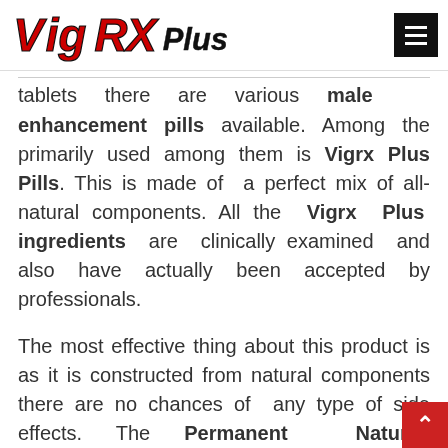VigRX Plus [logo] [hamburger menu]
tablets. There are various male enhancement pills available. Among the primarily used among them is Vigrx Plus Pills. This is made of a perfect mix of all-natural components. All the Vigrx Plus ingredients are clinically examined and also have actually been accepted by professionals.

The most effective thing about this product is as it is constructed from natural components there are no chances of any type of side effects. The Permanent Natural Enlargement Pills Online Advantages are stronger erections, enhanced endurance and sex drive, stops early climaxing, enhance the density of sperm, and boosts the